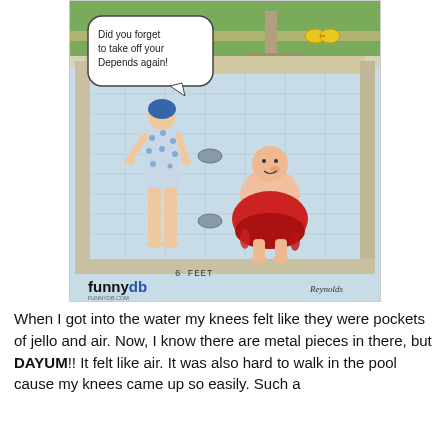[Figure (illustration): A humorous cartoon showing a swimming pool scene. A woman in a blue polka-dot swimsuit and swim cap stands at the edge of an empty pool. In the pool, a large man is wearing what appears to be a soaking red adult diaper. A speech bubble reads 'Did you forget to take off your Depends again!' The pool shows a tile grid, drain covers, and a diving board in the background. The image is watermarked with 'funnydb' and signed 'Reynolds'.]
When I got into the water my knees felt like they were pockets of jello and air. Now, I know there are metal pieces in there, but DAYUM!! It felt like air. It was also hard to walk in the pool cause my knees came up so easily. Such a